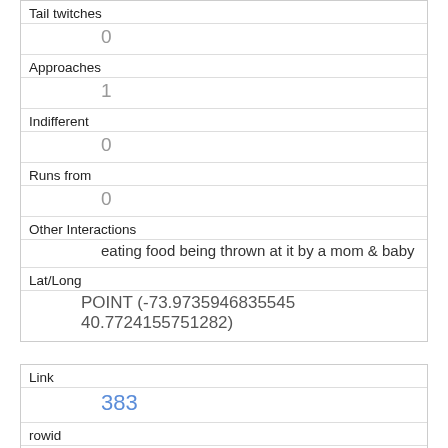| Tail twitches | 0 |
| Approaches | 1 |
| Indifferent | 0 |
| Runs from | 0 |
| Other Interactions | eating food being thrown at it by a mom & baby |
| Lat/Long | POINT (-73.9735946835545 40.7724155751282) |
| Link | 383 |
| rowid | 383 |
| longitude | -73.9588358879692 |
| latitude | 40.7912631913057 |